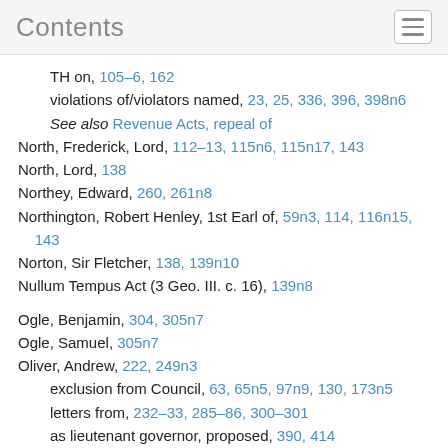Contents
TH on, 105–6, 162
violations of/violators named, 23, 25, 336, 396, 398n6
See also Revenue Acts, repeal of
North, Frederick, Lord, 112–13, 115n6, 115n17, 143
North, Lord, 138
Northey, Edward, 260, 261n8
Northington, Robert Henley, 1st Earl of, 59n3, 114, 116n15, 143
Norton, Sir Fletcher, 138, 139n10
Nullum Tempus Act (3 Geo. III. c. 16), 139n8
Ogle, Benjamin, 304, 305n7
Ogle, Samuel, 305n7
Oliver, Andrew, 222, 249n3
exclusion from Council, 63, 65n5, 97n9, 130, 173n5
letters from, 232–33, 285–86, 300–301
as lieutenant governor, proposed, 390, 414